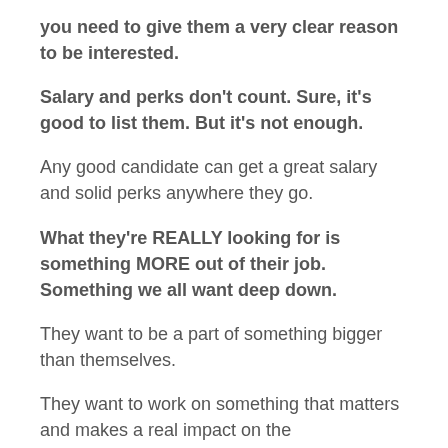you need to give them a very clear reason to be interested.
Salary and perks don't count. Sure, it's good to list them. But it's not enough.
Any good candidate can get a great salary and solid perks anywhere they go.
What they're REALLY looking for is something MORE out of their job. Something we all want deep down.
They want to be a part of something bigger than themselves.
They want to work on something that matters and makes a real impact on the